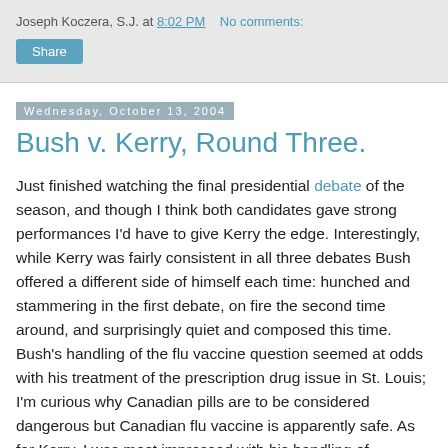Joseph Koczera, S.J. at 8:02 PM   No comments:
Share
Wednesday, October 13, 2004
Bush v. Kerry, Round Three.
Just finished watching the final presidential debate of the season, and though I think both candidates gave strong performances I'd have to give Kerry the edge. Interestingly, while Kerry was fairly consistent in all three debates Bush offered a different side of himself each time: hunched and stammering in the first debate, on fire the second time around, and surprisingly quiet and composed this time. Bush's handling of the flu vaccine question seemed at odds with his treatment of the prescription drug issue in St. Louis; I'm curious why Canadian pills are to be considered dangerous but Canadian flu vaccine is apparently safe. As for Kerry, I was most impressed with his handling of moderator Bob Schieffer's question about the attitude of